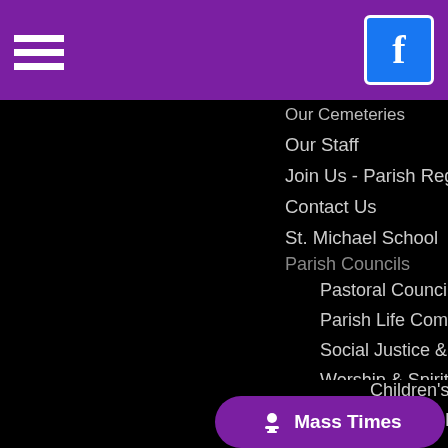Navigation header with hamburger menu and Facebook icon
Our Cemeteries
Monday M...
Our Staff
Live Strea...
Join Us - Parish Registration Form
Mass Time...
Contact Us
Liturgical M...
St. Michael School
Homebou...
Parish Councils
Pastoral Council
Parish Life Commission
Social Justice & Peace Commission
Worship & Spirituality Commission
Finance Council
Sacraments
Lifelong Faith Formation
Socia...
Children's Faith Formation
Knights...
Middle & High School Youth Ministry
Prayer...
How do I become Catholic?
St. Mic...
Adult Faith Formation
Sacre...
...ust...
Cub Sc...
Mass Times button